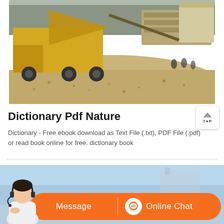[Figure (photo): Construction site with a dump truck unloading gravel/rocks onto a large dirt/gravel pile. Heavy machinery and equipment visible in background with bare trees. Workers visible at right side.]
Dictionary Pdf Nature
Dictionary - Free ebook download as Text File (.txt), PDF File (.pdf) or read book online for free. dictionary book
[Figure (photo): Bottom section showing a customer service agent (woman with headset) on left, and an orange banner with 'Message' and 'Online Chat' buttons. Background shows a blue sky with equipment/machinery.]